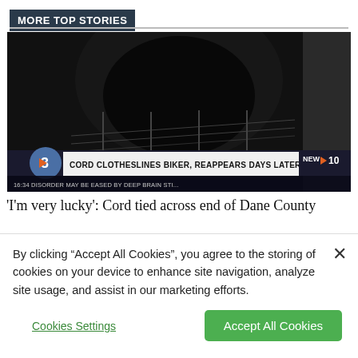MORE TOP STORIES
[Figure (screenshot): Dark tunnel/underpass news video screenshot with chyron text: 'CORD CLOTHESLINES BIKER, REAPPEARS DAYS LATER' and 'NEW 10', lower ticker: 'DISORDER MAY BE EASED BY DEEP BRAIN STI...']
'I'm very lucky': Cord tied across end of Dane County
By clicking “Accept All Cookies”, you agree to the storing of cookies on your device to enhance site navigation, analyze site usage, and assist in our marketing efforts.
Cookies Settings
Accept All Cookies